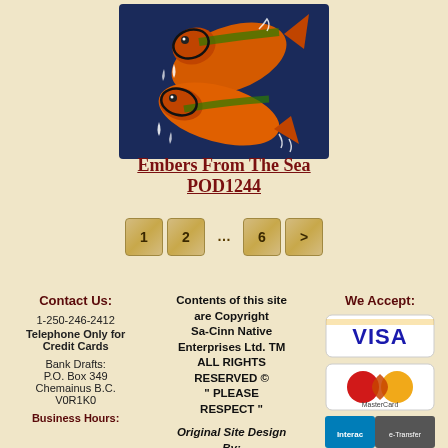[Figure (illustration): Native art illustration showing two salmon fish in orange/green colors with black outlines on a dark blue background, with water droplets]
Embers From The Sea POD1244
[Figure (other): Pagination buttons showing: 1, 2, ..., 6, >]
Contact Us: 1-250-246-2412 Telephone Only for Credit Cards Bank Drafts: P.O. Box 349 Chemainus B.C. V0R1K0 Business Hours:
Contents of this site are Copyright Sa-Cinn Native Enterprises Ltd. TM ALL RIGHTS RESERVED © " PLEASE RESPECT " Original Site Design By: Na Na Quish
We Accept:
[Figure (logo): VISA credit card logo - blue and gold on white rounded rectangle]
[Figure (logo): MasterCard logo - red and gold overlapping circles on white rounded rectangle]
[Figure (logo): Interac e-Transfer logo on grey background]